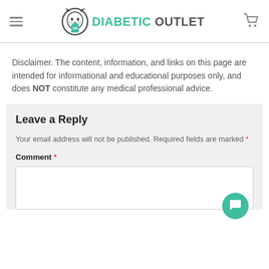Diabetic Outlet
Disclaimer. The content, information, and links on this page are intended for informational and educational purposes only, and does NOT constitute any medical professional advice.
Leave a Reply
Your email address will not be published. Required fields are marked *
Comment *